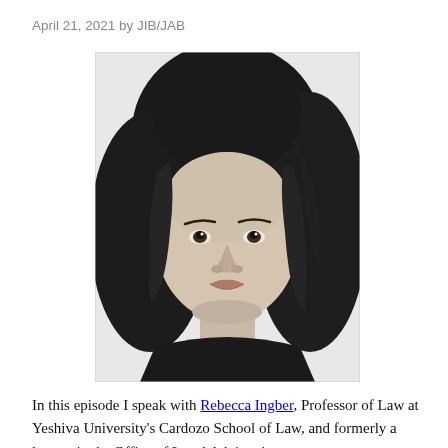April 21, 2021 by JIB/JAB
[Figure (photo): Black and white professional headshot of Rebecca Ingber, a woman with shoulder-length dark hair, looking directly at the camera with a slight smile, wearing a dark top.]
In this episode I speak with Rebecca Ingber, Professor of Law at Yeshiva University's Cardozo School of Law, and formerly a lawyer in the Office of Legal Advisor in